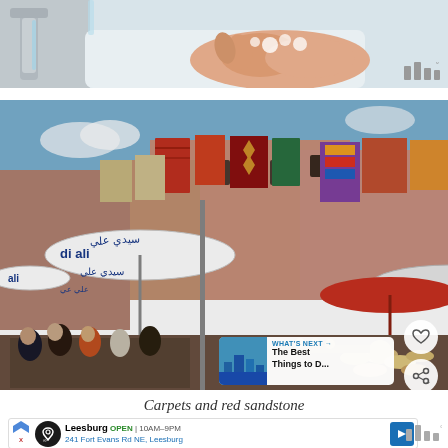[Figure (photo): Partial view of hands being washed under running water at a sink with a faucet, soapy hands visible, top portion of image cropped]
[Figure (photo): Outdoor market scene in what appears to be Marrakech, Morocco - colorful carpets and rugs hanging on building facades, market stalls with hats and souvenirs, umbrellas with Arabic text (Sidi Ali brand), crowds of people shopping, red sandstone buildings in background]
Carpets and red sandstone
[Figure (screenshot): Advertisement banner for Leesburg business showing: arrow ad indicator, circular logo icon, business name Leesburg, OPEN badge, hours 10AM-9PM, address 241 Fort Evans Rd NE Leesburg, blue navigation arrow icon]